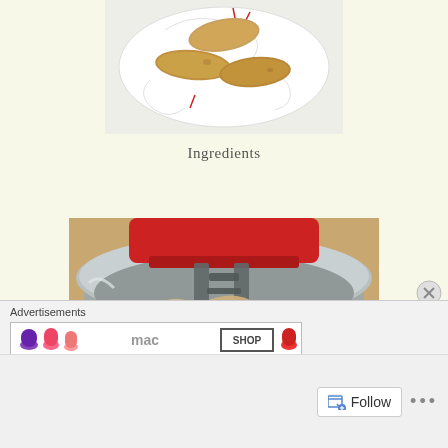[Figure (photo): Three raw sweet potatoes on a decorative plate with swirling line pattern]
Ingredients
[Figure (photo): A stand mixer bowl with shredded cooked chicken being mixed, red mixer head visible at top]
Advertisements
[Figure (other): Advertisement banner showing colorful silicone kitchen tools with SHOP button]
[Figure (other): Follow button with icon and ellipsis dots menu at bottom of page]